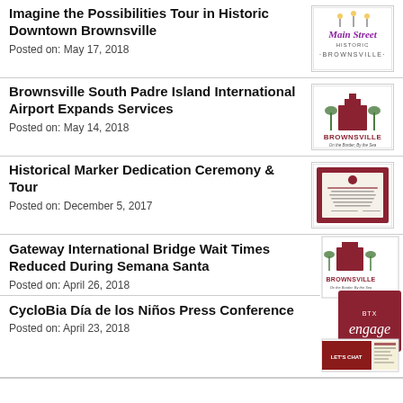Imagine the Possibilities Tour in Historic Downtown Brownsville
Posted on: May 17, 2018
[Figure (logo): Main Street Brownsville logo with decorative script text on white background]
Brownsville South Padre Island International Airport Expands Services
Posted on: May 14, 2018
[Figure (logo): Brownsville city logo with building and palm trees]
Historical Marker Dedication Ceremony & Tour
Posted on: December 5, 2017
[Figure (illustration): Historical marker document on dark red/maroon background]
Gateway International Bridge Wait Times Reduced During Semana Santa
Posted on: April 26, 2018
[Figure (illustration): Brownsville logo overlapping with BTX Engage dark red logo]
CycloBia Día de los Niños Press Conference
Posted on: April 23, 2018
[Figure (illustration): BTX Engage logo overlapping with a chat/info graphic]